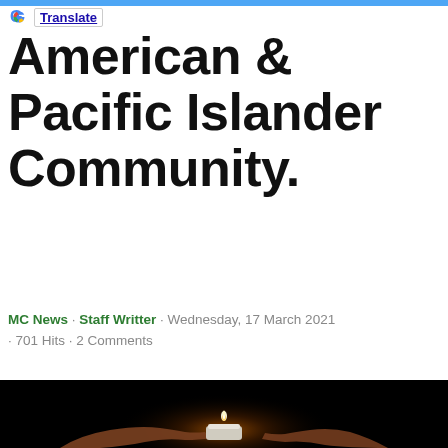Translate
American & Pacific Islander Community.
MC News · Staff Writter · Wednesday, 17 March 2021 · 701 Hits · 2 Comments
[Figure (photo): Two hands cupping a small lit tealight candle against a dark black background, with warm candlelight illuminating the hands from below.]